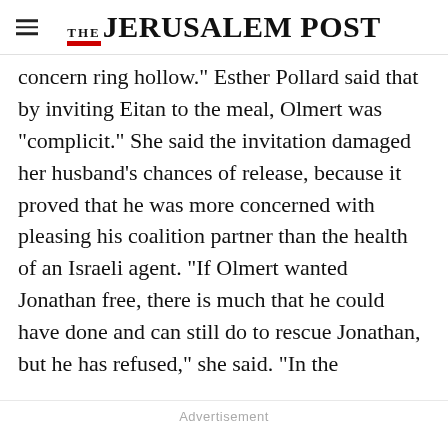THE JERUSALEM POST
concern ring hollow." Esther Pollard said that by inviting Eitan to the meal, Olmert was "complicit." She said the invitation damaged her husband's chances of release, because it proved that he was more concerned with pleasing his coalition partner than the health of an Israeli agent. "If Olmert wanted Jonathan free, there is much that he could have done and can still do to rescue Jonathan, but he has refused," she said. "In the
Advertisement